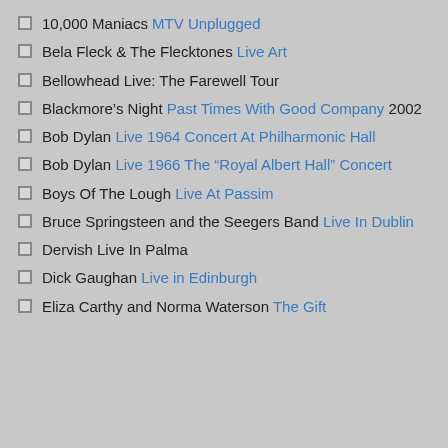10,000 Maniacs MTV Unplugged
Bela Fleck & The Flecktones Live Art
Bellowhead Live: The Farewell Tour
Blackmore's Night Past Times With Good Company 2002
Bob Dylan Live 1964 Concert At Philharmonic Hall
Bob Dylan Live 1966 The “Royal Albert Hall” Concert
Boys Of The Lough Live At Passim
Bruce Springsteen and the Seegers Band Live In Dublin
Dervish Live In Palma
Dick Gaughan Live in Edinburgh
Eliza Carthy and Norma Waterson The Gift